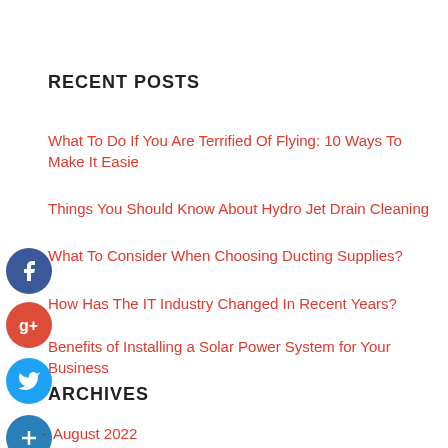RECENT POSTS
What To Do If You Are Terrified Of Flying: 10 Ways To Make It Easie
Things You Should Know About Hydro Jet Drain Cleaning
What To Consider When Choosing Ducting Supplies?
How Has The IT Industry Changed In Recent Years?
Benefits of Installing a Solar Power System for Your Business
ARCHIVES
- August 2022